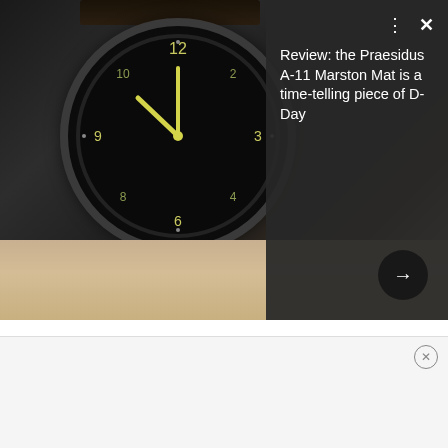[Figure (photo): Screenshot of a news article card/overlay showing a close-up photo of a military-style wristwatch (Praesidus A-11 Marston Mat) with a dark dial, on a wooden surface. An article card overlay on the right reads 'Review: the Praesidus A-11 Marston Mat is a time-telling piece of D-Day'. There are UI controls (dots menu, X close button, forward arrow). A progress indicator bar is visible at the top.]
A son of Texas, Brown grew up in a state that is 95 percent beef brisket (and 5 percent U.S. military bases). But it wasn't until college at Texas Tech that Brown really tried his hand at the smoky art.
[Figure (screenshot): Advertisement banner at the bottom of the page with a circular close (X) button in the top-right corner.]